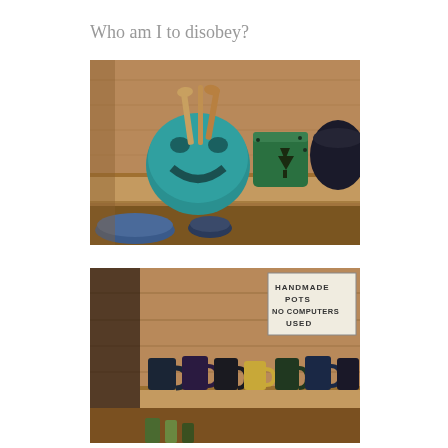Who am I to disobey?
[Figure (photo): Photo of handmade ceramic pottery on a wooden shelf inside a rustic wooden cabin. A teal/green face-shaped ceramic pot holds wooden spoons and spatulas. Next to it is a green cylindrical ceramic pot with tree designs. A dark ceramic piece is partially visible on the right. Below the shelf, blue ceramic bowls are partially visible.]
[Figure (photo): Photo of handmade ceramic mugs on a wooden shelf in a rustic wooden setting. A hand-written sign in the upper right reads 'HANDMADE POTS NO COMPUTERS USED'. Multiple mugs of varying colors (dark blue, black, tan/yellow, dark green) are arranged on the shelf. More pottery is partially visible below.]